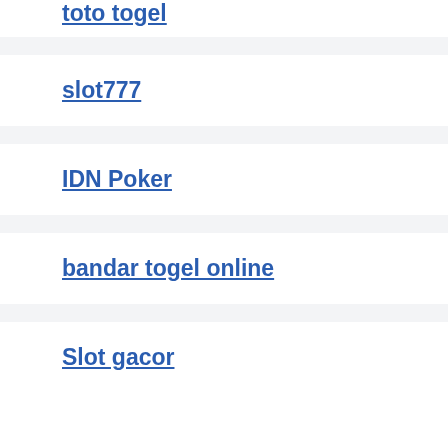toto togel
slot777
IDN Poker
bandar togel online
Slot gacor